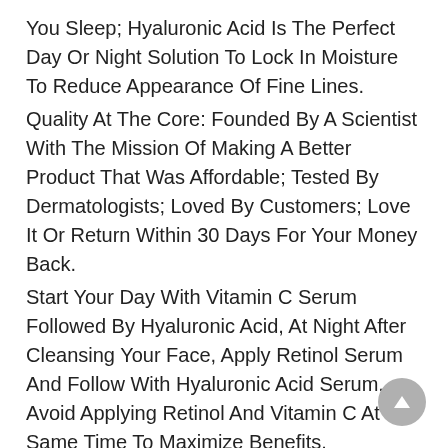You Sleep; Hyaluronic Acid Is The Perfect Day Or Night Solution To Lock In Moisture To Reduce Appearance Of Fine Lines.
Quality At The Core: Founded By A Scientist With The Mission Of Making A Better Product That Was Affordable; Tested By Dermatologists; Loved By Customers; Love It Or Return Within 30 Days For Your Money Back.
Start Your Day With Vitamin C Serum Followed By Hyaluronic Acid, At Night After Cleansing Your Face, Apply Retinol Serum And Follow With Hyaluronic Acid Serum, Avoid Applying Retinol And Vitamin C At The Same Time To Maximize Benefits.
Features
Only the good, none of the bad: certified cruelty free;